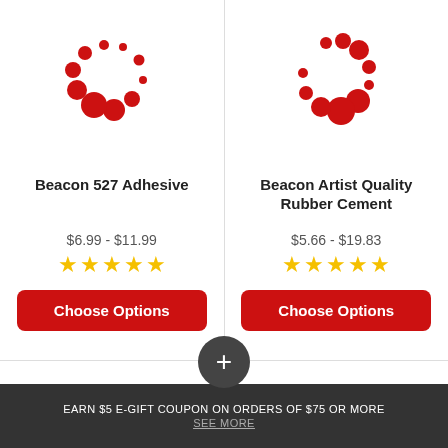[Figure (logo): Red circular loading-spinner dots logo for Beacon 527 Adhesive product]
Beacon 527 Adhesive
$6.99 - $11.99
[Figure (other): 5 yellow stars rating]
Choose Options
[Figure (logo): Red circular loading-spinner dots logo for Beacon Artist Quality Rubber Cement product]
Beacon Artist Quality Rubber Cement
$5.66 - $19.83
[Figure (other): 5 yellow stars rating]
Choose Options
[Figure (other): Dark circle with plus sign]
EARN $5 E-GIFT COUPON ON ORDERS OF $75 OR MORE
SEE MORE